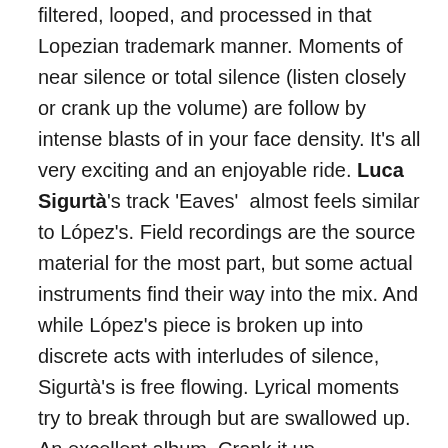filtered, looped, and processed in that Lopezian trademark manner. Moments of near silence or total silence (listen closely or crank up the volume) are follow by intense blasts of in your face density. It's all very exciting and an enjoyable ride. Luca Sigurtà's track 'Eaves'  almost feels similar to López's. Field recordings are the source material for the most part, but some actual instruments find their way into the mix. And while López's piece is broken up into discrete acts with interludes of silence, Sigurtà's is free flowing. Lyrical moments try to break through but are swallowed up. An excellent album. Crank it up.